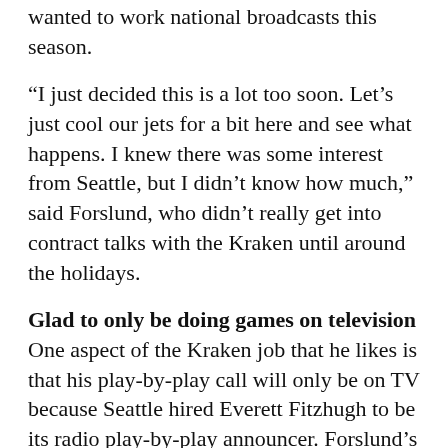Part of it was the timing, so we decided he just wanted to work national broadcasts this season.
“I just decided this is a lot too soon. Let’s just cool our jets for a bit here and see what happens. I knew there was some interest from Seattle, but I didn’t know how much,” said Forslund, who didn’t really get into contract talks with the Kraken until around the holidays.
Glad to only be doing games on television
One aspect of the Kraken job that he likes is that his play-by-play call will only be on TV because Seattle hired Everett Fitzhugh to be its radio play-by-play announcer. Forslund’s call the last two seasons was also heard on the radio.
“…